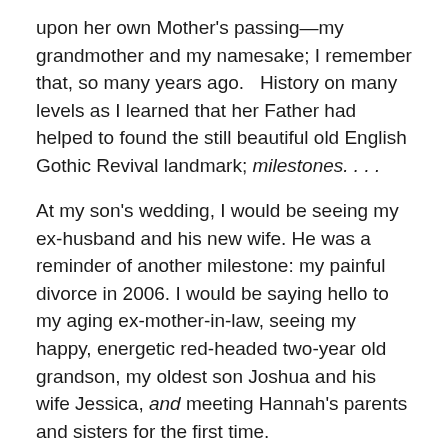upon her own Mother's passing—my grandmother and my namesake; I remember that, so many years ago.   History on many levels as I learned that her Father had helped to found the still beautiful old English Gothic Revival landmark; milestones. . . .
At my son's wedding, I would be seeing my ex-husband and his new wife. He was a reminder of another milestone: my painful divorce in 2006. I would be saying hello to my aging ex-mother-in-law, seeing my happy, energetic red-headed two-year old grandson, my oldest son Joshua and his wife Jessica, and meeting Hannah's parents and sisters for the first time.
I had vowed to myself to show up powerful, balanced, peaceful and loving.  I felt, I had fulfilled that promise—to myself:  for me that was another milestone and cycle that